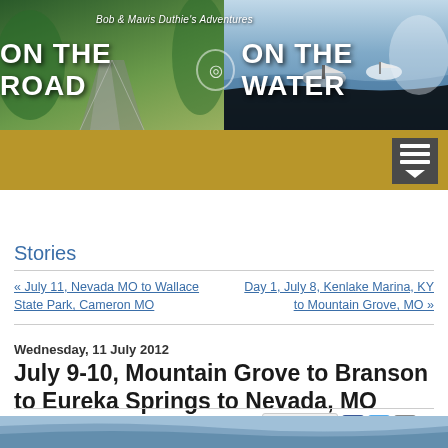[Figure (photo): Blog header banner split into two halves: left side shows a road through green forest, right side shows boats on water. Text overlay reads 'Bob & Mavis Duthie's Adventures ON THE ROAD ON THE WATER']
Bob & Mavis Duthie's Adventures ON THE ROAD ON THE WATER
Stories
« July 11, Nevada MO to Wallace State Park, Cameron MO
Day 1, July 8, Kenlake Marina, KY to Mountain Grove, MO »
Wednesday, 11 July 2012
July 9-10, Mountain Grove to Branson to Eureka Springs to Nevada, MO
[Figure (photo): Bottom partial image showing a water/lake scene with blue sky]